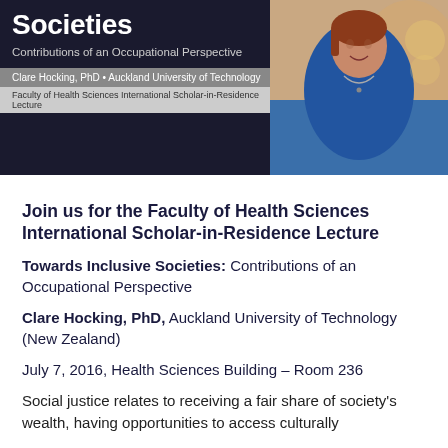[Figure (photo): Banner image with dark background showing title 'Towards Inclusive Societies: Contributions of an Occupational Perspective' by Clare Hocking, PhD from Auckland University of Technology, with a photo of a woman in a blue top on the right side.]
Join us for the Faculty of Health Sciences International Scholar-in-Residence Lecture
Towards Inclusive Societies: Contributions of an Occupational Perspective
Clare Hocking, PhD, Auckland University of Technology (New Zealand)
July 7, 2016, Health Sciences Building – Room 236
Social justice relates to receiving a fair share of society's wealth, having opportunities to access culturally